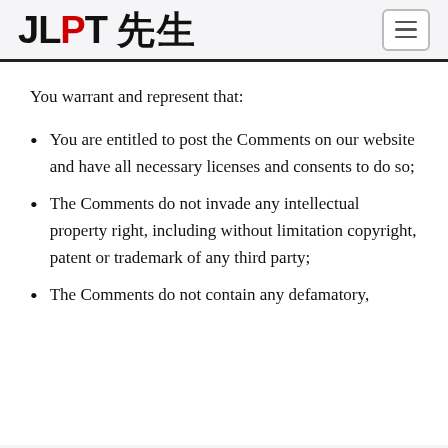JLPT 先生
You warrant and represent that:
You are entitled to post the Comments on our website and have all necessary licenses and consents to do so;
The Comments do not invade any intellectual property right, including without limitation copyright, patent or trademark of any third party;
The Comments do not contain any defamatory,